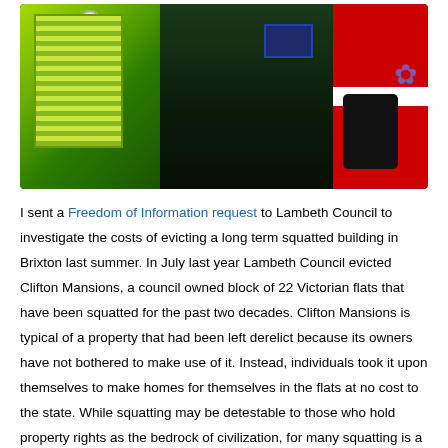[Figure (photo): Colorful doors side by side — a bright green louvred door on the left, a dark green door in the centre, and a red-and-white striped panel on the right]
I sent a Freedom of Information request to Lambeth Council to investigate the costs of evicting a long term squatted building in Brixton last summer. In July last year Lambeth Council evicted Clifton Mansions, a council owned block of 22 Victorian flats that have been squatted for the past two decades. Clifton Mansions is typical of a property that had been left derelict because its owners have not bothered to make use of it. Instead, individuals took it upon themselves to make homes for themselves in the flats at no cost to the state. While squatting may be detestable to those who hold property rights as the bedrock of civilization, for many squatting is a pragmatic solution to the